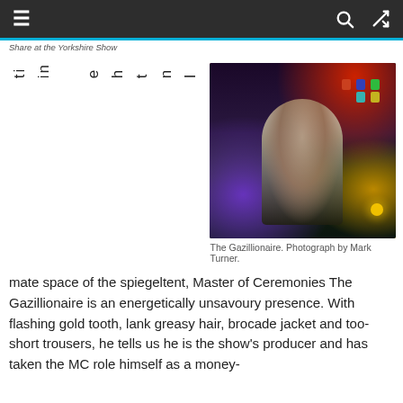≡   [search] [shuffle]
Share at the Yorkshire Show
[Figure (photo): A man in a brocade jacket holding a microphone on a colourful stage, performing as The Gazillionaire master of ceremonies.]
The Gazillionaire. Photograph by Mark Turner.
mate space of the spiegeltent, Master of Ceremonies The Gazillionaire is an energetically unsavoury presence. With flashing gold tooth, lank greasy hair, brocade jacket and too-short trousers, he tells us he is the show's producer and has taken the MC role himself as a money-